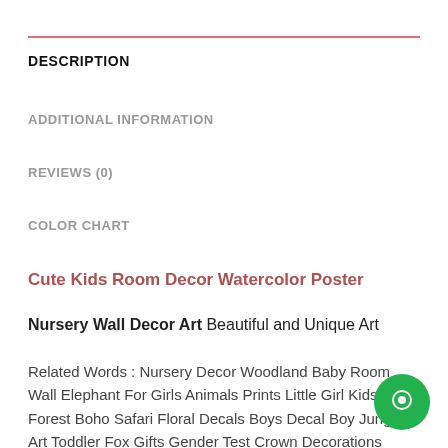DESCRIPTION
ADDITIONAL INFORMATION
REVIEWS (0)
COLOR CHART
Cute Kids Room Decor Watercolor Poster
Nursery Wall Decor Art Beautiful and Unique Art
Related Words : Nursery Decor Woodland Baby Room Wall Elephant For Girls Animals Prints Little Girl Kids Forest Boho Safari Floral Decals Boys Decal Boy Jungle Art Toddler Fox Gifts Gender Test Crown Decorations Daycare Wallpaper Picture Frames Animal Play